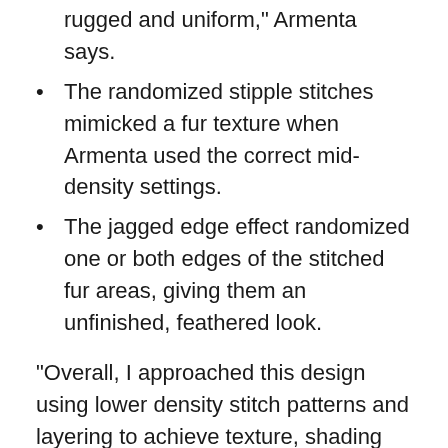rugged and uniform," Armenta says.
The randomized stipple stitches mimicked a fur texture when Armenta used the correct mid-density settings.
The jagged edge effect randomized one or both edges of the stitched fur areas, giving them an unfinished, feathered look.
“Overall, I approached this design using lower density stitch patterns and layering to achieve texture, shading and a more dimensional look,” Armenta says.
The other key to producing a decorated bag that gets used and noticed is choosing the right spot to imprint. “When you’re working with duffel bags for